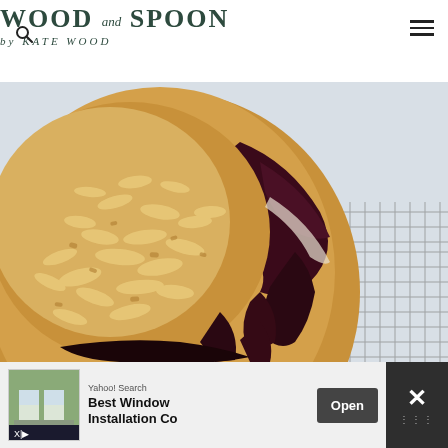WOOD and SPOON by KATE WOOD
[Figure (photo): Close-up photo of a blueberry crumble pie or tart with almond topping, dark purple berry filling oozing over the sides, placed on a wire cooling rack against a light blue-grey background.]
Yahoo! Search Best Window Installation Co